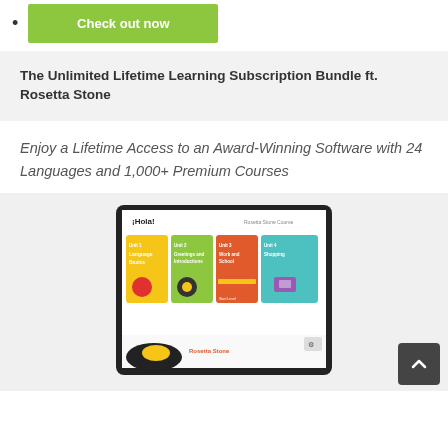Check out now
The Unlimited Lifetime Learning Subscription Bundle ft. Rosetta Stone
Enjoy a Lifetime Access to an Award-Winning Software with 24 Languages and 1,000+ Premium Courses
[Figure (screenshot): Tablet device showing Rosetta Stone app interface with Spanish lesson modules: Language Basics, Greetings and Introductions, Work and School, Shopping, with colorful lesson cards and a toucan bird image at the bottom.]